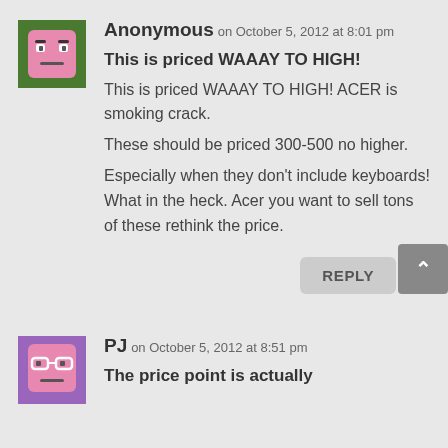[Figure (photo): Anonymous user avatar: pink cartoon face on green background]
Anonymous on October 5, 2012 at 8:01 pm
This is priced WAAAY TO HIGH!
This is priced WAAAY TO HIGH! ACER is smoking crack.
These should be priced 300-500 no higher.
Especially when they don't include keyboards! What in the heck. Acer you want to sell tons of these rethink the price.
REPLY
[Figure (photo): PJ user avatar: pink cartoon face with glasses on purple background]
PJ on October 5, 2012 at 8:51 pm
The price point is actually